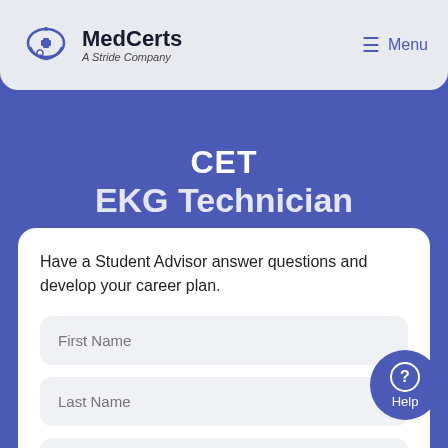MedCerts A Stride Company | Menu
CET
EKG Technician
Have a Student Advisor answer questions and develop your career plan.
First Name
Last Name
Email